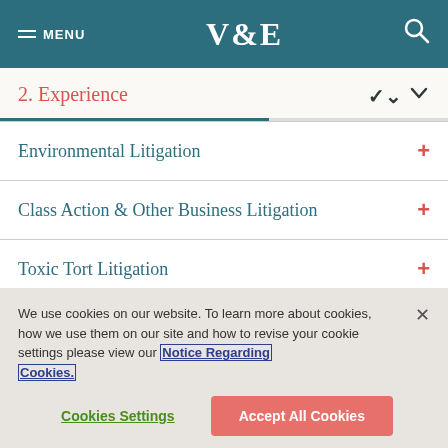MENU  V&E  [search]
2. Experience
Environmental Litigation
Class Action & Other Business Litigation
Toxic Tort Litigation
We use cookies on our website. To learn more about cookies, how we use them on our site and how to revise your cookie settings please view our Notice Regarding Cookies.
Cookies Settings  Accept All Cookies